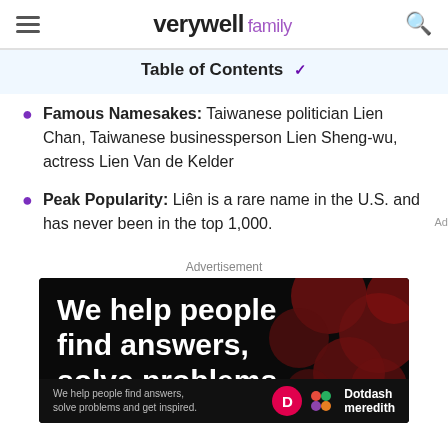verywell family
Table of Contents
Famous Namesakes: Taiwanese politician Lien Chan, Taiwanese businessperson Lien Sheng-wu, actress Lien Van de Kelder
Peak Popularity: Liên is a rare name in the U.S. and has never been in the top 1,000.
Advertisement
[Figure (photo): Advertisement image: dark background with red circles, white bold text reading 'We help people find answers, solve problems' with Dotdash Meredith branding at bottom]